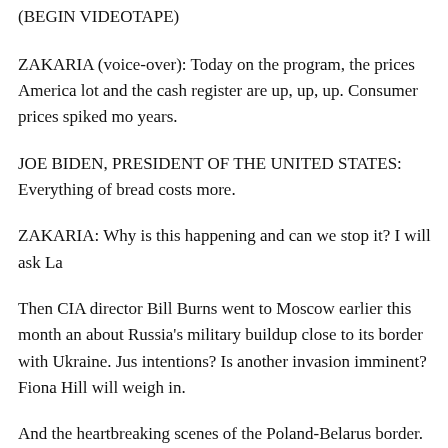(BEGIN VIDEOTAPE)
ZAKARIA (voice-over): Today on the program, the prices America lot and the cash register are up, up, up. Consumer prices spiked mo years.
JOE BIDEN, PRESIDENT OF THE UNITED STATES: Everything of bread costs more.
ZAKARIA: Why is this happening and can we stop it? I will ask La
Then CIA director Bill Burns went to Moscow earlier this month an about Russia's military buildup close to its border with Ukraine. Jus intentions? Is another invasion imminent? Fiona Hill will weigh in.
And the heartbreaking scenes of the Poland-Belarus border. Migran